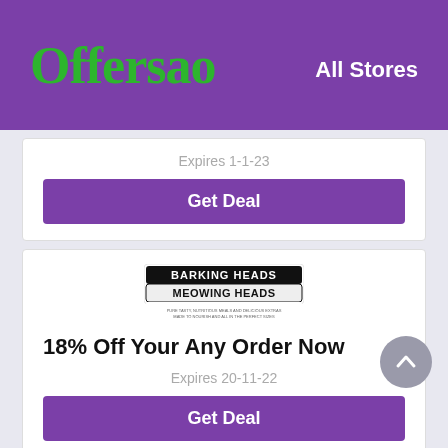Offersao  All Stores
Expires 1-1-23
Get Deal
[Figure (logo): Barking Heads & Meowing Heads store logo in black and white]
18% Off Your Any Order Now
Expires 20-11-22
Get Deal